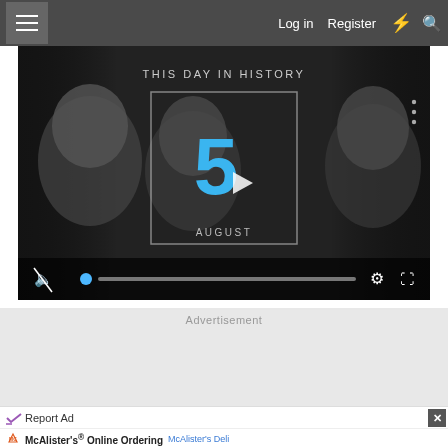Log in  Register
[Figure (screenshot): Video player showing 'This Day in History' with date August 5. Gray-scale background with faces, blue number 5 in center box with play button overlay, video controls bar at bottom with mute icon, progress bar, settings gear, and fullscreen icons.]
Advertisement
Report Ad
McAlister's® Online Ordering
McAlister's Deli